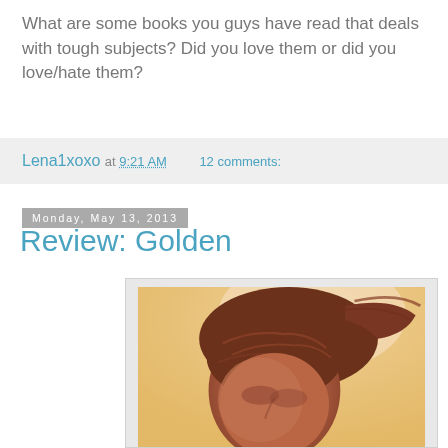What are some books you guys have read that deals with tough subjects? Did you love them or did you love/hate them?
Lena1xoxo at 9:21 AM   12 comments:
Monday, May 13, 2013
Review: Golden
[Figure (photo): Close-up photo of a woman with red/auburn hair, photographed from below against a bright golden/warm sky background. The image has a warm, sun-drenched tone.]